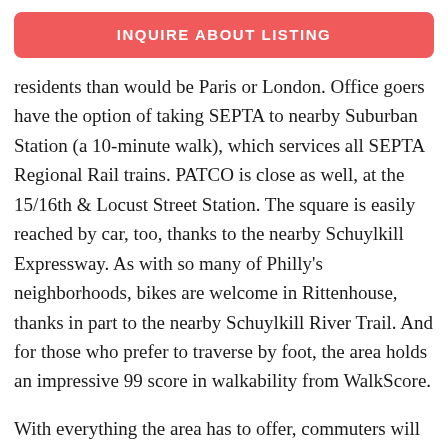INQUIRE ABOUT LISTING
residents than would be Paris or London. Office goers have the option of taking SEPTA to nearby Suburban Station (a 10-minute walk), which services all SEPTA Regional Rail trains. PATCO is close as well, at the 15/16th & Locust Street Station. The square is easily reached by car, too, thanks to the nearby Schuylkill Expressway. As with so many of Philly's neighborhoods, bikes are welcome in Rittenhouse, thanks in part to the nearby Schuylkill River Trail. And for those who prefer to traverse by foot, the area holds an impressive 99 score in walkability from WalkScore.
With everything the area has to offer, commuters will likely want to stick around outside of work, too. The square hosts one of the city's biggest farmers' market, at 18th and Walnut, every Saturday year-round.  And seasonal events –